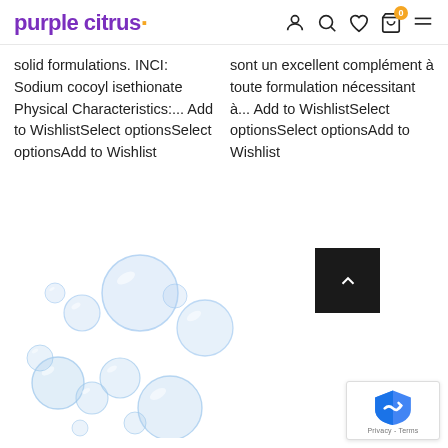purple citrus
solid formulations. INCI: Sodium cocoyl isethionate Physical Characteristics:... Add to WishlistSelect optionsSelect optionsAdd to Wishlist
sont un excellent complément à toute formulation nécessitant à... Add to WishlistSelect optionsSelect optionsAdd to Wishlist
[Figure (illustration): Soap bubbles of various sizes arranged in a cluster, light blue transparent spheres with reflections]
[Figure (other): Dark scroll-to-top button with upward chevron arrow]
[Figure (other): Google reCAPTCHA badge with shield logo and Privacy - Terms text]